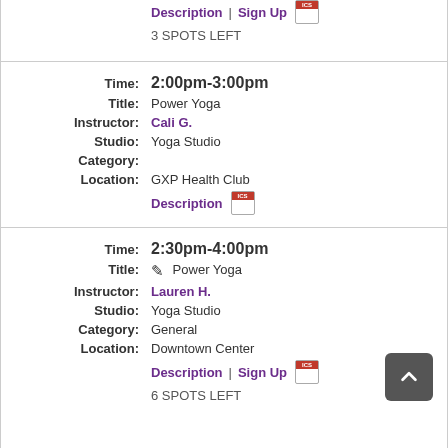Description | Sign Up [ICS]
3 SPOTS LEFT
Time: 2:00pm-3:00pm
Title: Power Yoga
Instructor: Cali G.
Studio: Yoga Studio
Category:
Location: GXP Health Club
Description [ICS]
Time: 2:30pm-4:00pm
Title: Power Yoga
Instructor: Lauren H.
Studio: Yoga Studio
Category: General
Location: Downtown Center
Description | Sign Up [ICS]
6 SPOTS LEFT